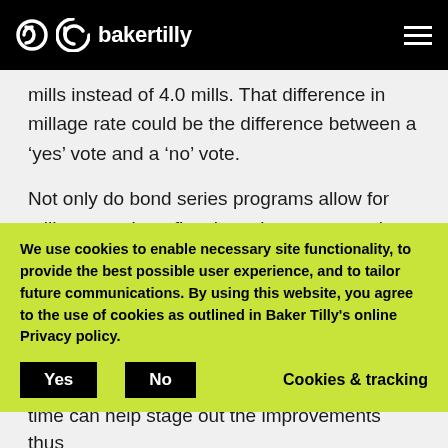bakertilly
mills instead of 4.0 mills. That difference in millage rate could be the difference between a ‘yes’ vote and a ‘no’ vote.
Not only do bond series programs allow for millage rate benefits, they also stage out the improvements over time to allow for better planning in the future. If you need every road in
We use cookies to enable necessary site functionality, to provide the best possible user experience, and to tailor future communications. By using this website, you agree to the use of cookies as outlined in Baker Tilly’s online Privacy policy.
Yes    No    Cookies & tracking
time can help stage out the improvements thus